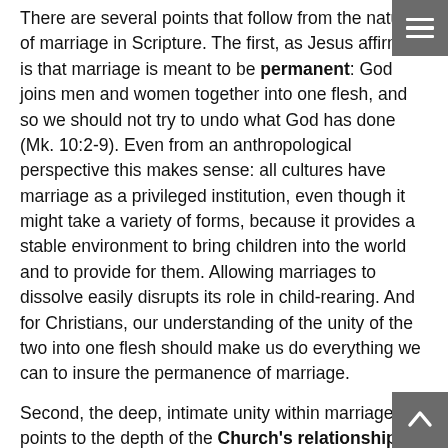There are several points that follow from the nature of marriage in Scripture. The first, as Jesus affirmed, is that marriage is meant to be permanent: God joins men and women together into one flesh, and so we should not try to undo what God has done (Mk. 10:2-9). Even from an anthropological perspective this makes sense: all cultures have marriage as a privileged institution, even though it might take a variety of forms, because it provides a stable environment to bring children into the world and to provide for them. Allowing marriages to dissolve easily disrupts its role in child-rearing. And for Christians, our understanding of the unity of the two into one flesh should make us do everything we can to insure the permanence of marriage.
Second, the deep, intimate unity within marriage points to the depth of the Church's relationship and unity with Jesus. In the Old Testament, God often describes Israel as His wife, particularly by identifying idolatry with adultery (e.g. Hos. 1:2). In the New Testament, the Church is